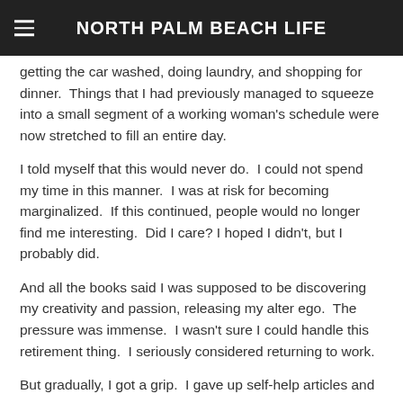NORTH PALM BEACH LIFE
getting the car washed, doing laundry, and shopping for dinner.  Things that I had previously managed to squeeze into a small segment of a working woman's schedule were now stretched to fill an entire day.
I told myself that this would never do.  I could not spend my time in this manner.  I was at risk for becoming marginalized.  If this continued, people would no longer find me interesting.  Did I care? I hoped I didn't, but I probably did.
And all the books said I was supposed to be discovering my creativity and passion, releasing my alter ego.  The pressure was immense.  I wasn't sure I could handle this retirement thing.  I seriously considered returning to work.
But gradually, I got a grip.  I gave up self-help articles and